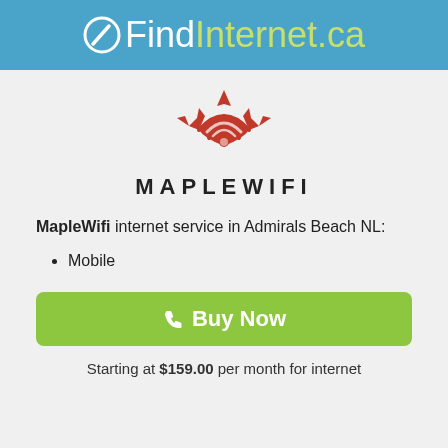QFindInternet.ca
[Figure (logo): MapleWifi logo: a red maple-leaf shaped WiFi signal icon with concentric arcs and a dot, above the text MAPLEWIFI in bold black uppercase spaced letters]
MapleWifi internet service in Admirals Beach NL:
Mobile
Buy Now
Starting at $159.00 per month for internet